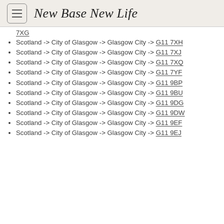New Base New Life
7XG (partial, top of page)
Scotland -> City of Glasgow -> Glasgow City -> G11 7XH
Scotland -> City of Glasgow -> Glasgow City -> G11 7XJ
Scotland -> City of Glasgow -> Glasgow City -> G11 7XQ
Scotland -> City of Glasgow -> Glasgow City -> G11 7YF
Scotland -> City of Glasgow -> Glasgow City -> G11 9BP
Scotland -> City of Glasgow -> Glasgow City -> G11 9BU
Scotland -> City of Glasgow -> Glasgow City -> G11 9DG
Scotland -> City of Glasgow -> Glasgow City -> G11 9DW
Scotland -> City of Glasgow -> Glasgow City -> G11 9EF
Scotland -> City of Glasgow -> Glasgow City -> G11 9EJ (partial, bottom)